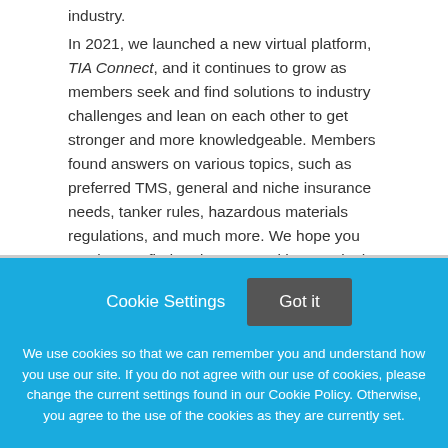industry.

In 2021, we launched a new virtual platform, TIA Connect, and it continues to grow as members seek and find solutions to industry challenges and lean on each other to get stronger and more knowledgeable. Members found answers on various topics, such as preferred TMS, general and niche insurance needs, tanker rules, hazardous materials regulations, and much more. We hope you continue to find and connect with peers in the industry, and together, find solutions to complex issues in logistics.
Cookie Settings  Got it

We use cookies so that we can remember you and understand how you use our site. If you do not agree with our use of cookies, please change the current settings found in our Cookie Policy. Otherwise, you agree to the use of the cookies as they are currently set.